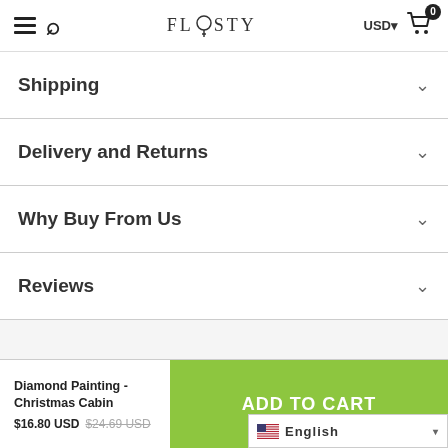FLOSTY — USD — Cart (0)
Shipping
Delivery and Returns
Why Buy From Us
Reviews
Diamond Painting - Christmas Cabin $16.80 USD $24.69 USD
ADD TO CART
English